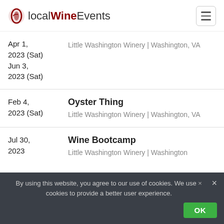localWineEvents
Apr 1, 2023 (Sat)
Jun 3, 2023 (Sat) | Little Washington Winery | Washington, VA
Oyster Thing
Feb 4, 2023 (Sat) | Little Washington Winery | Washington, VA
Wine Bootcamp
Jul 30, 2023 | Little Washington Winery | Washington
By using this website, you agree to our use of cookies. We use cookies to provide a better user experience.